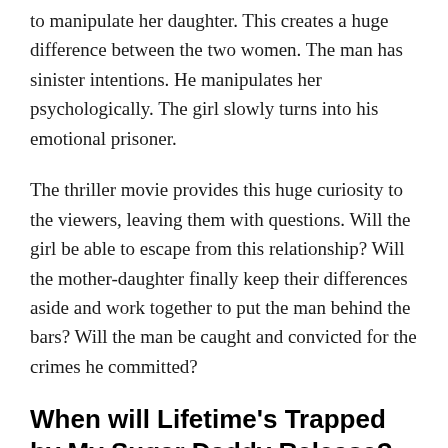to manipulate her daughter. This creates a huge difference between the two women. The man has sinister intentions. He manipulates her psychologically. The girl slowly turns into his emotional prisoner.
The thriller movie provides this huge curiosity to the viewers, leaving them with questions. Will the girl be able to escape from this relationship? Will the mother-daughter finally keep their differences aside and work together to put the man behind the bars? Will the man be caught and convicted for the crimes he committed?
When will Lifetime's Trapped by My Sugar Daddy Release?
The movie has already been released on the Lifetime...